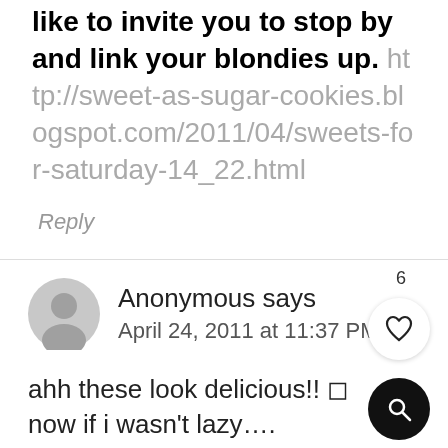like to invite you to stop by and link your blondies up. http://sweet-as-sugar-cookies.blogspot.com/2011/04/sweets-for-saturday-14_22.html
Reply
6
Anonymous says
April 24, 2011 at 11:37 PM
ahh these look delicious!! 😊
now if i wasn't lazy….